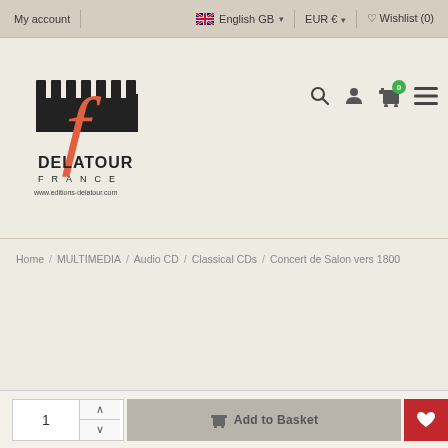My account  |  English GB  EUR €  Wishlist (0)
[Figure (logo): Delatour France logo with stylized 'f' and castle battlements, www.editions-delatour.com]
Home / MULTIMEDIA / Audio CD / Classical CDs / Concert de Salon vers 1800